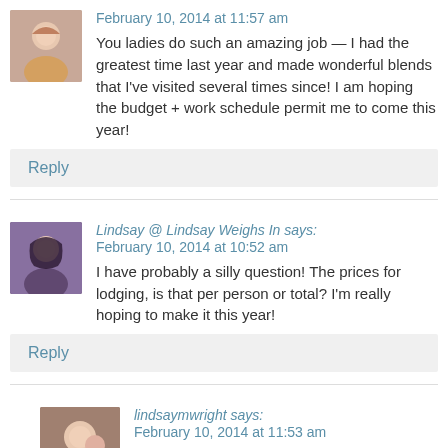[Figure (photo): Avatar photo of commenter 1, woman with blonde hair]
February 10, 2014 at 11:57 am
You ladies do such an amazing job — I had the greatest time last year and made wonderful blends that I've visited several times since! I am hoping the budget + work schedule permit me to come this year!
Reply
[Figure (photo): Avatar photo of Lindsay, woman with dark hair]
Lindsay @ Lindsay Weighs In says:
February 10, 2014 at 10:52 am
I have probably a silly question! The prices for lodging, is that per person or total? I'm really hoping to make it this year!
Reply
[Figure (photo): Avatar photo of lindsaymwright, couple]
lindsaymwright says:
February 10, 2014 at 11:53 am
The prices for lodging are per person for your